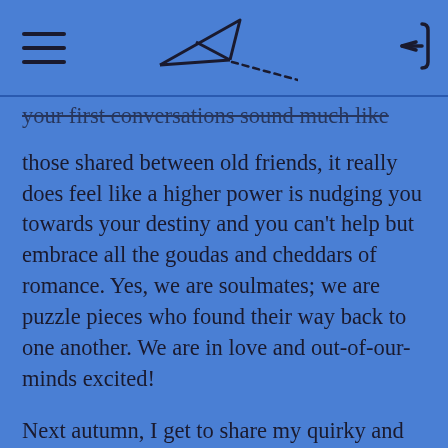[hamburger menu] [paper airplane icon] [back arrow icon]
your first conversations sound much like those shared between old friends, it really does feel like a higher power is nudging you towards your destiny and you can't help but embrace all the goudas and cheddars of romance. Yes, we are soulmates; we are puzzle pieces who found their way back to one another. We are in love and out-of-our-minds excited!

Next autumn, I get to share my quirky and beautiful hometown with my soon-to-be-husband and his family along with our international friends during a Slovak-British-